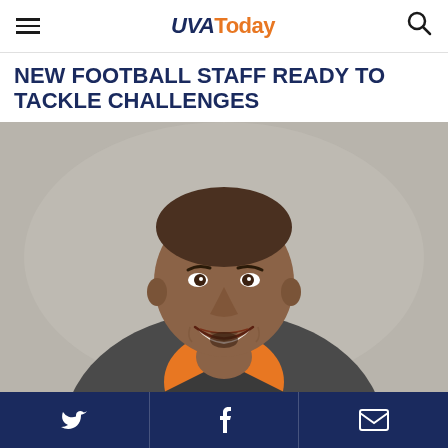UVAToday
NEW FOOTBALL STAFF READY TO TACKLE CHALLENGES
[Figure (photo): Portrait photo of a smiling man wearing an orange shirt, tie, and dark blazer, against a grey background.]
Twitter, Facebook, Email social share icons